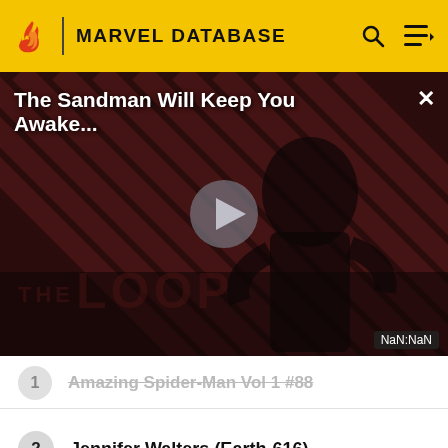MARVEL DATABASE
[Figure (screenshot): Video player banner showing 'The Sandman Will Keep You Awake...' with a dark-themed figure, play button in center, THE LOOP watermark, and NaN:NaN timer]
1  Amazing Spider-Man Vol 1 #88
2  Jennifer Walters (Earth-616)